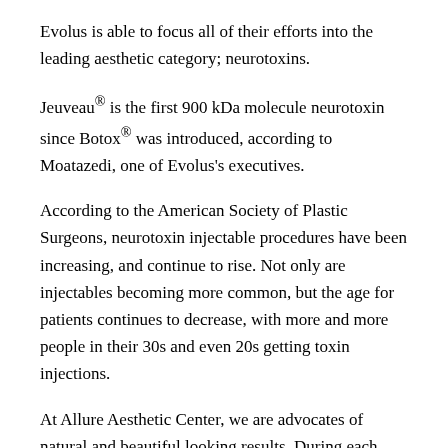Evolus is able to focus all of their efforts into the leading aesthetic category; neurotoxins.
Jeuveau® is the first 900 kDa molecule neurotoxin since Botox® was introduced, according to Moatazedi, one of Evolus's executives.
According to the American Society of Plastic Surgeons, neurotoxin injectable procedures have been increasing, and continue to rise. Not only are injectables becoming more common, but the age for patients continues to decrease, with more and more people in their 30s and even 20s getting toxin injections.
At Allure Aesthetic Center, we are advocates of natural and beautiful looking results. During each procedure, we evaluate which areas need to be treated based on your facial expression, line appearance, and muscle strength. The area is then  cleaned and prepped with numbing cream, upon request, and a small